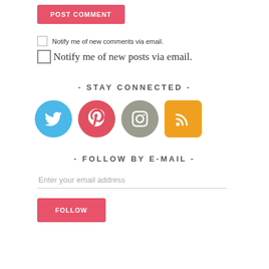POST COMMENT
Notify me of new comments via email.
Notify me of new posts via email.
- STAY CONNECTED -
[Figure (infographic): Four circular social media icons: Twitter (blue), Pinterest (red/pink), Instagram (gray), RSS (orange square with rounded corners)]
- FOLLOW BY E-MAIL -
Enter your email address
FOLLOW